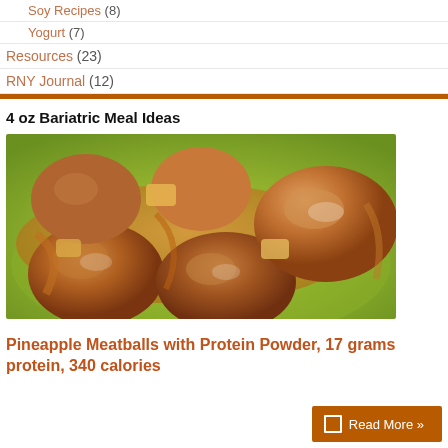Soy Recipes (8)
Yogurt (7)
Resources (23)
RNY Journal (12)
4 oz Bariatric Meal Ideas
[Figure (photo): Photo of pineapple meatballs with orange/brown sauce on a green plate, close-up view]
Pineapple Meatballs with Protein Powder, 17 grams protein, 340 calories
Read More »